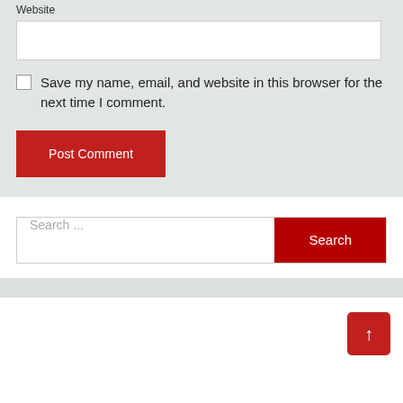Website
Save my name, email, and website in this browser for the next time I comment.
Post Comment
Search ...
Search
↑